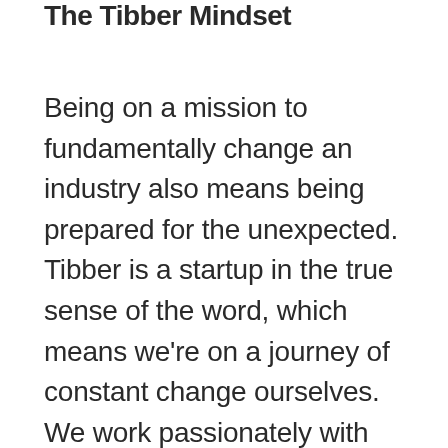The Tibber Mindset
Being on a mission to fundamentally change an industry also means being prepared for the unexpected. Tibber is a startup in the true sense of the word, which means we're on a journey of constant change ourselves. We work passionately with sustainability and a circular approach, both with our own products and in the entire ecosystem that is affected by everything we do. The well-known fact that all people are different, and far